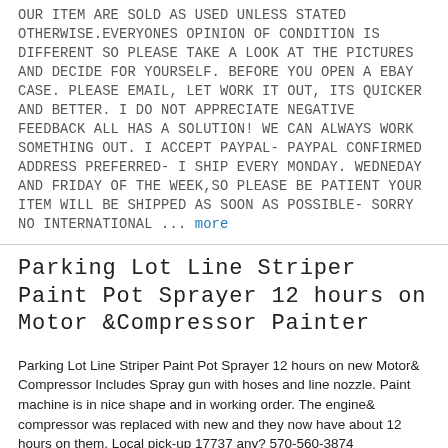OUR ITEM ARE SOLD AS USED UNLESS STATED OTHERWISE.EVERYONES OPINION OF CONDITION IS DIFFERENT SO PLEASE TAKE A LOOK AT THE PICTURES AND DECIDE FOR YOURSELF. BEFORE YOU OPEN A EBAY CASE. PLEASE EMAIL, LET WORK IT OUT, ITS QUICKER AND BETTER. I DO NOT APPRECIATE NEGATIVE FEEDBACK ALL HAS A SOLUTION! WE CAN ALWAYS WORK SOMETHING OUT. I ACCEPT PAYPAL- PAYPAL CONFIRMED ADDRESS PREFERRED- I SHIP EVERY MONDAY. WEDNEDAY AND FRIDAY OF THE WEEK,SO PLEASE BE PATIENT YOUR ITEM WILL BE SHIPPED AS SOON AS POSSIBLE- SORRY NO INTERNATIONAL ... more
Parking Lot Line Striper Paint Pot Sprayer 12 hours on Motor &Compressor Painter
Parking Lot Line Striper Paint Pot Sprayer 12 hours on new Motor& Compressor Includes Spray gun with hoses and line nozzle. Paint machine is in nice shape and in working order. The engine& compressor was replaced with new and they now have about 12 hours on them. Local pick-up 17737 any? 570-560-3874
Trusco Line Striper Model 250N
This is a Trusco Line Striping machine powered by a nitrogen tank. The machine is easy to operate and great for someone starting a business or for a church or school system. This is buyer pick up only. I will not consider shipping this item. The machine has had light use and is easy to operate. Please contact me with any questions. The striper lays down